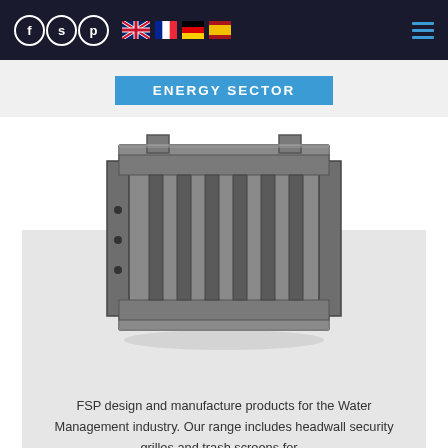FSP — f s p logo with flag icons and hamburger menu
ENERGY SECTOR
[Figure (photo): Metal headwall security grill / trash screen — a rectangular steel bar grate with vertical bars and side flanges, photographed at an angle on a white/grey background]
FSP design and manufacture products for the Water Management industry. Our range includes headwall security grilles and trash screens for...